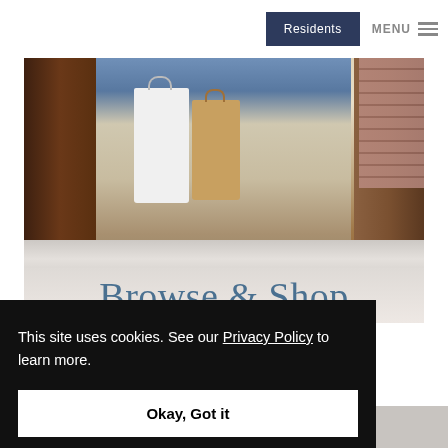Residents  MENU
[Figure (photo): Person walking through a wooden doorway carrying white and kraft paper shopping bags, with brick wall visible on the right and marble floor below. Text 'Browse & Shop' overlaid in teal serif font.]
This site uses cookies. See our Privacy Policy to learn more.
Okay, Got it